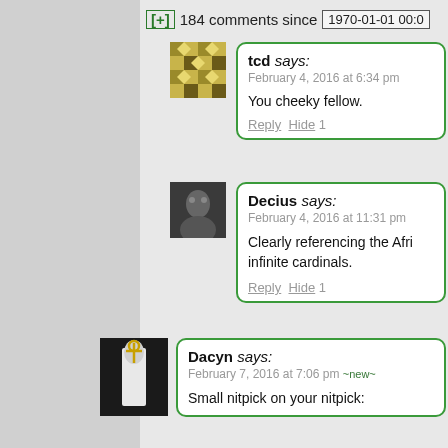[+] 184 comments since 1970-01-01 00:0
tcd says:
February 4, 2016 at 6:34 pm
You cheeky fellow.
Reply Hide 1
Decius says:
February 4, 2016 at 11:31 pm
Clearly referencing the Afri infinite cardinals.
Reply Hide 1
Dacyn says:
February 7, 2016 at 7:06 pm ~new~
Small nitpick on your nitpick: